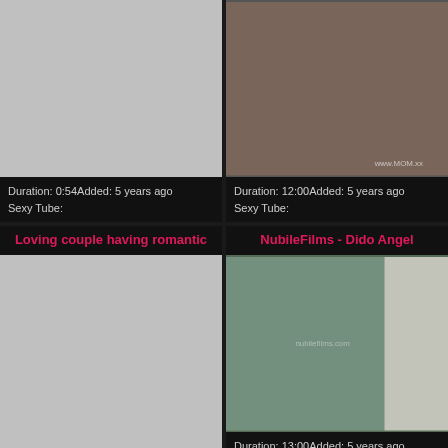[Figure (photo): Top-left video thumbnail placeholder, gray rectangle]
Duration: 0:54Added: 5 years ago
Sexy Tube:
[Figure (photo): Top-right video thumbnail showing adult content]
Duration: 12:00Added: 5 years ago
Sexy Tube:
Loving couple having romantic
[Figure (photo): Bottom-left video thumbnail placeholder, gray rectangle]
NubileFilms - Dido Angel
[Figure (photo): Bottom-right video thumbnail showing adult content]
Duration: 13:00Added: 5 years ago
Sexy Tube: